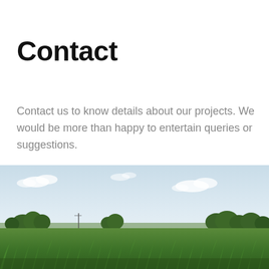Contact
Contact us to know details about our projects. We would be more than happy to entertain queries or suggestions.
[Figure (photo): Wide landscape photograph of a green agricultural field (corn/crops) in the foreground with a row of trees in the middle distance and a pale blue sky with scattered white clouds in the background.]